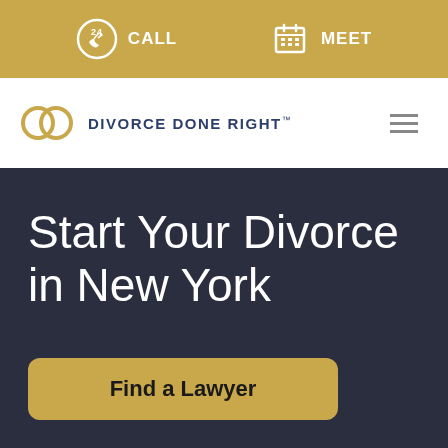CALL  MEET
[Figure (logo): Divorce Done Right logo with interlinked rings and text DIVORCE DONE RIGHT™]
Start Your Divorce in New York
Find a Lawyer